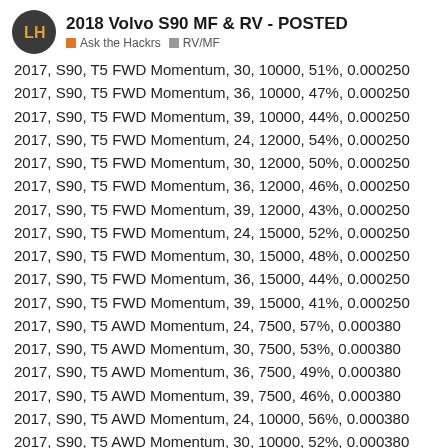2018 Volvo S90 MF & RV - POSTED
2017, S90, T5 FWD Momentum, 30, 10000, 51%, 0.000250
2017, S90, T5 FWD Momentum, 36, 10000, 47%, 0.000250
2017, S90, T5 FWD Momentum, 39, 10000, 44%, 0.000250
2017, S90, T5 FWD Momentum, 24, 12000, 54%, 0.000250
2017, S90, T5 FWD Momentum, 30, 12000, 50%, 0.000250
2017, S90, T5 FWD Momentum, 36, 12000, 46%, 0.000250
2017, S90, T5 FWD Momentum, 39, 12000, 43%, 0.000250
2017, S90, T5 FWD Momentum, 24, 15000, 52%, 0.000250
2017, S90, T5 FWD Momentum, 30, 15000, 48%, 0.000250
2017, S90, T5 FWD Momentum, 36, 15000, 44%, 0.000250
2017, S90, T5 FWD Momentum, 39, 15000, 41%, 0.000250
2017, S90, T5 AWD Momentum, 24, 7500, 57%, 0.000380
2017, S90, T5 AWD Momentum, 30, 7500, 53%, 0.000380
2017, S90, T5 AWD Momentum, 36, 7500, 49%, 0.000380
2017, S90, T5 AWD Momentum, 39, 7500, 46%, 0.000380
2017, S90, T5 AWD Momentum, 24, 10000, 56%, 0.000380
2017, S90, T5 AWD Momentum, 30, 10000, 52%, 0.000380
2017, S90, T5 AWD Momentum, 36, 10000, [partial]
2017, S90, T5 AWD Momentum, 39, 10000, [partial]
10 / 70